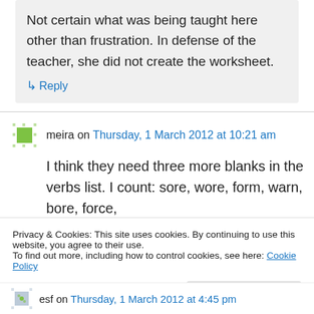Not certain what was being taught here other than frustration. In defense of the teacher, she did not create the worksheet.
↳ Reply
meira on Thursday, 1 March 2012 at 10:21 am
I think they need three more blanks in the verbs list. I count: sore, wore, form, warn, bore, force,
Privacy & Cookies: This site uses cookies. By continuing to use this website, you agree to their use.
To find out more, including how to control cookies, see here: Cookie Policy
Close and accept
esf on Thursday, 1 March 2012 at 4:45 pm